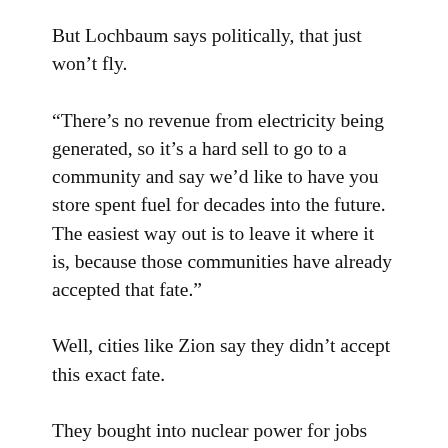But Lochbaum says politically, that just won't fly.
“There’s no revenue from electricity being generated, so it’s a hard sell to go to a community and say we’d like to have you store spent fuel for decades into the future. The easiest way out is to leave it where it is, because those communities have already accepted that fate.”
Well, cities like Zion say they didn’t accept this exact fate.
They bought into nuclear power for jobs and property taxes – they didn’t count on